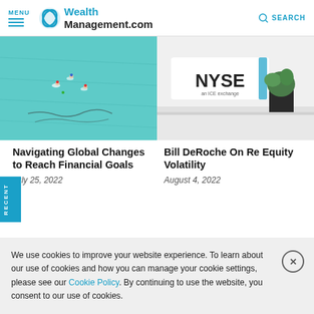MENU | WealthManagement.com | SEARCH
[Figure (photo): Aerial view of swimmers in teal-colored water, viewed from above]
[Figure (photo): NYSE exchange sign with a plant in the foreground]
Navigating Global Changes to Reach Financial Goals
Bill DeRoche On Re Equity Volatility
July 25, 2022
August 4, 2022
We use cookies to improve your website experience. To learn about our use of cookies and how you can manage your cookie settings, please see our Cookie Policy. By continuing to use the website, you consent to our use of cookies.